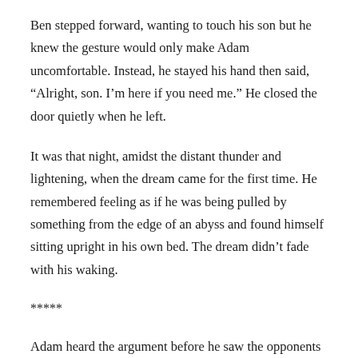Ben stepped forward, wanting to touch his son but he knew the gesture would only make Adam uncomfortable. Instead, he stayed his hand then said, “Alright, son. I’m here if you need me.” He closed the door quietly when he left.
It was that night, amidst the distant thunder and lightening, when the dream came for the first time. He remembered feeling as if he was being pulled by something from the edge of an abyss and found himself sitting upright in his own bed. The dream didn’t fade with his waking.
*****
Adam heard the argument before he saw the opponents